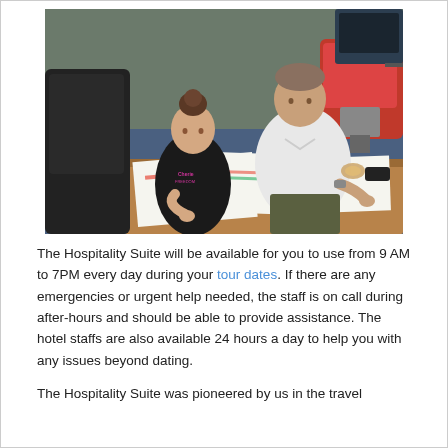[Figure (photo): A young woman with hair in a bun and a black t-shirt sits at a wooden desk reviewing printed documents/schedules with a man in a white shirt who is crouching beside her. Office chairs and a computer are visible in the background on a blue carpet floor.]
The Hospitality Suite will be available for you to use from 9 AM to 7PM every day during your tour dates. If there are any emergencies or urgent help needed, the staff is on call during after-hours and should be able to provide assistance. The hotel staffs are also available 24 hours a day to help you with any issues beyond dating.
The Hospitality Suite was pioneered by us in the travel